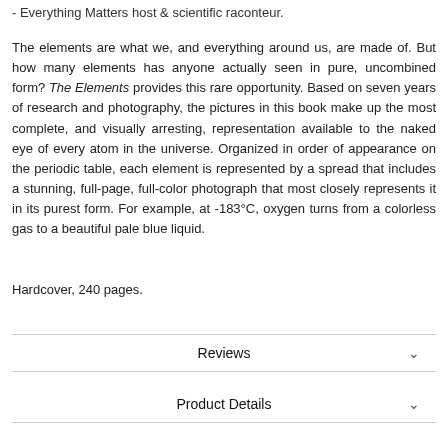- Everything Matters host & scientific raconteur.
The elements are what we, and everything around us, are made of. But how many elements has anyone actually seen in pure, uncombined form? The Elements provides this rare opportunity. Based on seven years of research and photography, the pictures in this book make up the most complete, and visually arresting, representation available to the naked eye of every atom in the universe. Organized in order of appearance on the periodic table, each element is represented by a spread that includes a stunning, full-page, full-color photograph that most closely represents it in its purest form. For example, at -183°C, oxygen turns from a colorless gas to a beautiful pale blue liquid.
Hardcover, 240 pages.
Reviews
Product Details